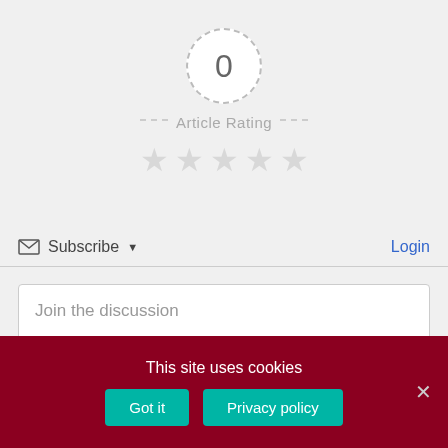[Figure (other): Article rating widget showing a dashed circle with 0 score, dashes on sides, 'Article Rating' label, and 5 empty grey stars]
Subscribe ▾   Login
Join the discussion
This site uses cookies
Got it   Privacy policy